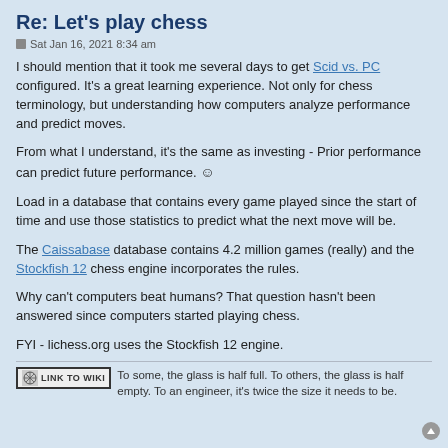Re: Let's play chess
Sat Jan 16, 2021 8:34 am
I should mention that it took me several days to get Scid vs. PC configured. It's a great learning experience. Not only for chess terminology, but understanding how computers analyze performance and predict moves.
From what I understand, it's the same as investing - Prior performance can predict future performance. :)
Load in a database that contains every game played since the start of time and use those statistics to predict what the next move will be.
The Caissabase database contains 4.2 million games (really) and the Stockfish 12 chess engine incorporates the rules.
Why can't computers beat humans? That question hasn't been answered since computers started playing chess.
FYI - lichess.org uses the Stockfish 12 engine.
To some, the glass is half full. To others, the glass is half empty. To an engineer, it's twice the size it needs to be.